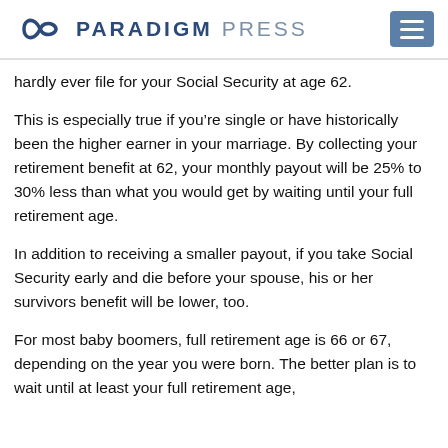PARADIGM PRESS
hardly ever file for your Social Security at age 62.
This is especially true if you’re single or have historically been the higher earner in your marriage. By collecting your retirement benefit at 62, your monthly payout will be 25% to 30% less than what you would get by waiting until your full retirement age.
In addition to receiving a smaller payout, if you take Social Security early and die before your spouse, his or her survivors benefit will be lower, too.
For most baby boomers, full retirement age is 66 or 67, depending on the year you were born. The better plan is to wait until at least your full retirement age,